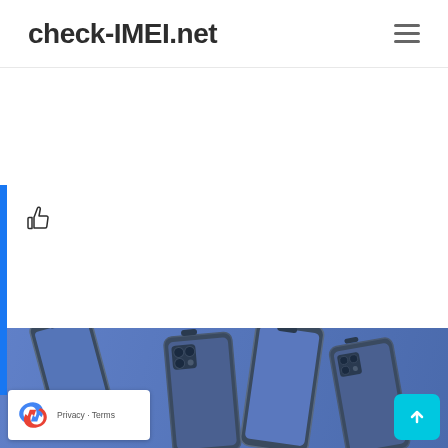check-IMEI.net
[Figure (screenshot): Website screenshot of check-IMEI.net showing logo, hamburger menu, blue sidebar with thumbs up icon, and bottom section showing multiple iPhone 12 Pro phones on a blue background]
[Figure (photo): Multiple iPhone 12 Pro smartphones shown from various angles on a blue/purple gradient background]